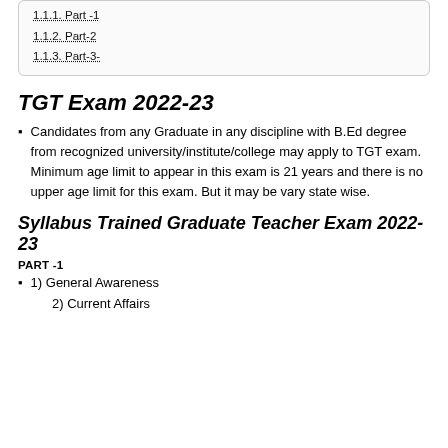1.1.1. Part-1
1.1.2. Part-2
1.1.3. Part-3-
TGT Exam 2022-23
Candidates from any Graduate in any discipline with B.Ed degree from recognized university/institute/college may apply to TGT exam. Minimum age limit to appear in this exam is 21 years and there is no upper age limit for this exam. But it may be vary state wise.
Syllabus Trained Graduate Teacher Exam 2022-23
PART -1
1) General Awareness
2) Current Affairs